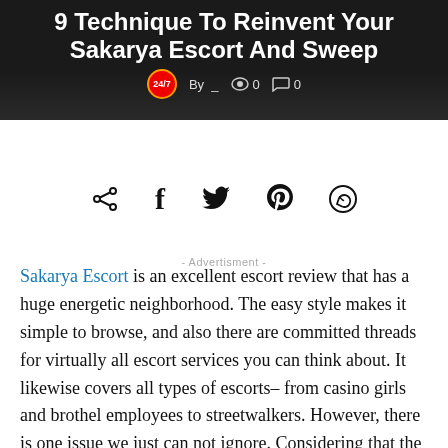9 Technique To Reinvent Your Sakarya Escort And Sweep
By _   0   0
- Advertisment -
[Figure (infographic): Social share icons: share, facebook, twitter, pinterest, whatsapp]
Sakarya Escort is an excellent escort review that has a huge energetic neighborhood. The easy style makes it simple to browse, and also there are committed threads for virtually all escort services you can think about. It likewise covers all types of escorts– from casino girls and brothel employees to streetwalkers. However, there is one issue we just can not ignore. Considering that the forum is